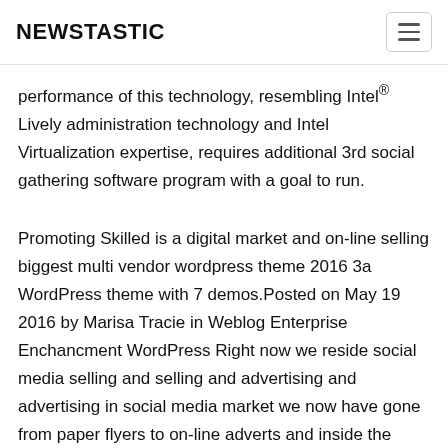NEWSTASTIC
performance of this technology, resembling Intel® Lively administration technology and Intel Virtualization expertise, requires additional 3rd social gathering software program with a goal to run.
Promoting Skilled is a digital market and on-line selling biggest multi vendor wordpress theme 2016 3a WordPress theme with 7 demos.Posted on May 19 2016 by Marisa Tracie in Weblog Enterprise Enchancment WordPress Right now we reside social media selling and selling and advertising and advertising in social media market we now have gone from paper flyers to on-line adverts and inside the ultimate yr on-line product gross sales have